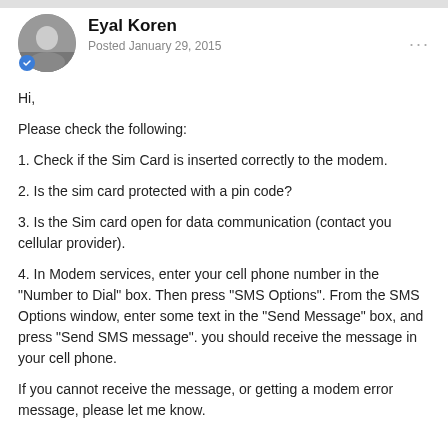Eyal Koren
Posted January 29, 2015
Hi,
Please check the following:
1. Check if the Sim Card is inserted correctly to the modem.
2. Is the sim card protected with a pin code?
3. Is the Sim card open for data communication (contact you cellular provider).
4. In Modem services, enter your cell phone number in the "Number to Dial" box. Then press "SMS Options". From the SMS Options window, enter some text in the "Send Message" box, and press "Send SMS message". you should receive the message in your cell phone.
If you cannot receive the message, or getting a modem error message, please let me know.